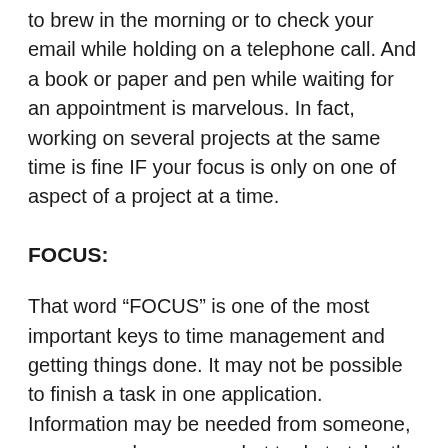to brew in the morning or to check your email while holding on a telephone call. And a book or paper and pen while waiting for an appointment is marvelous. In fact, working on several projects at the same time is fine IF your focus is only on one of aspect of a project at a time.
FOCUS:
That word “FOCUS” is one of the most important keys to time management and getting things done. It may not be possible to finish a task in one application. Information may be needed from someone, or you may be unsure what to do to take the project to the next step. However, if even a small